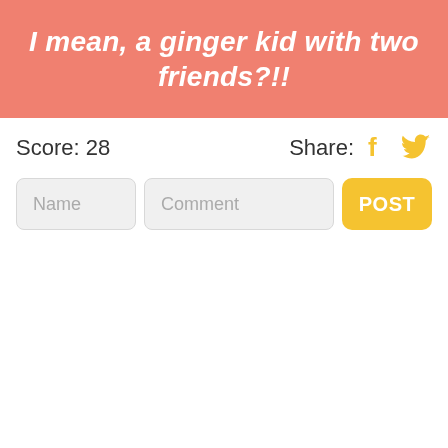[Figure (illustration): Salmon/coral colored banner with italic bold white text reading 'I mean, a ginger kid with two friends?!!']
Score: 28
Share:
[Figure (other): Facebook icon in golden/yellow color]
[Figure (other): Twitter bird icon in golden/yellow color]
Name
Comment
POST